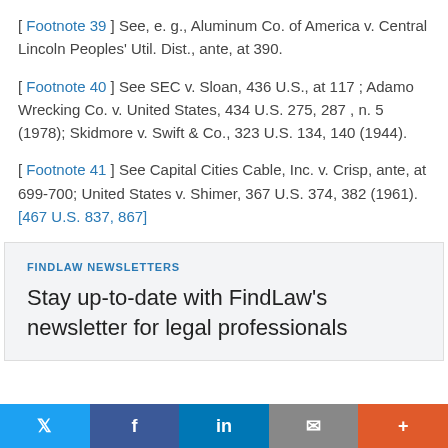[ Footnote 39 ] See, e. g., Aluminum Co. of America v. Central Lincoln Peoples' Util. Dist., ante, at 390.
[ Footnote 40 ] See SEC v. Sloan, 436 U.S., at 117 ; Adamo Wrecking Co. v. United States, 434 U.S. 275, 287 , n. 5 (1978); Skidmore v. Swift & Co., 323 U.S. 134, 140 (1944).
[ Footnote 41 ] See Capital Cities Cable, Inc. v. Crisp, ante, at 699-700; United States v. Shimer, 367 U.S. 374, 382 (1961). [467 U.S. 837, 867]
FINDLAW NEWSLETTERS
Stay up-to-date with FindLaw's newsletter for legal professionals